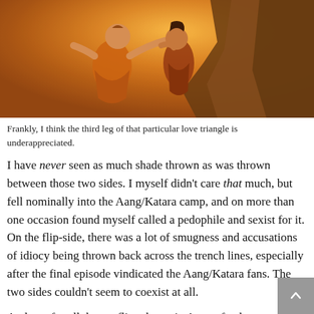[Figure (illustration): Animated scene from Avatar: The Last Airbender showing two characters against a warm orange/golden background with rocky terrain. One character wears orange/red robes.]
Frankly, I think the third leg of that particular love triangle is underappreciated.
I have never seen as much shade thrown as was thrown between those two sides. I myself didn't care that much, but fell nominally into the Aang/Katara camp, and on more than one occasion found myself called a pedophile and sexist for it. On the flip-side, there was a lot of smugness and accusations of idiocy being thrown back across the trench lines, especially after the final episode vindicated the Aang/Katara fans. The two sides couldn't seem to coexist at all.
And yet, for all the conflict, the main Avatar fandom community was relatively peaceful. There were flareups every now and then, of course, but relative to how